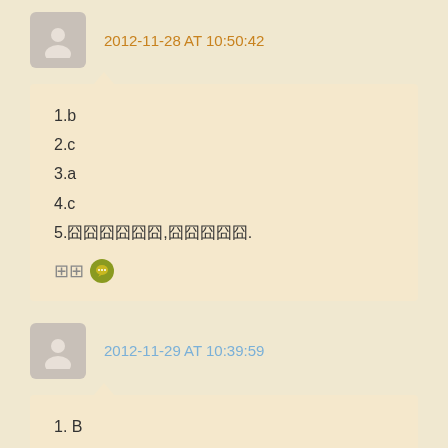2012-11-28 AT 10:50:42
1.b
2.c
3.a
4.c
5.囧囧囧囧囧囧,囧囧囧囧囧.
2012-11-29 AT 10:39:59
1. B
2. C
3. A
4. 囧囧囧囧囧囧囧囧囧囧囧囧囧囧囧